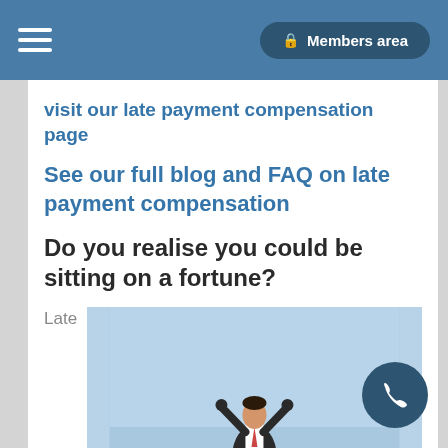Members area
visit our late payment compensation page
See our full blog and FAQ on late payment compensation
Do you realise you could be sitting on a fortune?
Late
[Figure (photo): Person celebrating with arms raised against blue sky background]